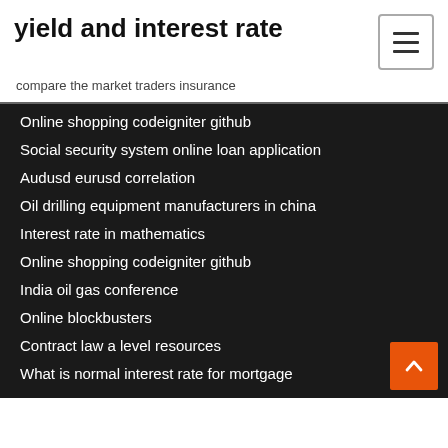yield and interest rate
compare the market traders insurance
Online shopping codeigniter github
Social security system online loan application
Audusd eurusd correlation
Oil drilling equipment manufacturers in china
Interest rate in mathematics
Online shopping codeigniter github
India oil gas conference
Online blockbusters
Contract law a level resources
What is normal interest rate for mortgage